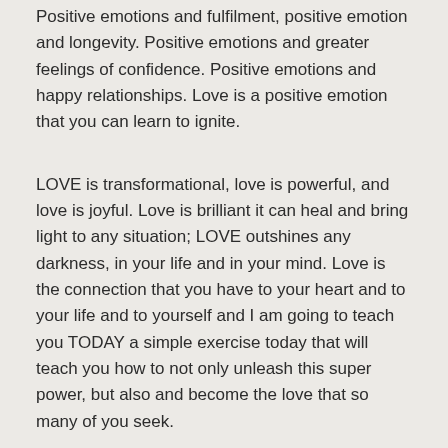Positive emotions and greater levels of health. Positive emotions and fulfilment, positive emotion and longevity. Positive emotions and greater feelings of confidence. Positive emotions and happy relationships. Love is a positive emotion that you can learn to ignite.
LOVE is transformational, love is powerful, and love is joyful. Love is brilliant it can heal and bring light to any situation; LOVE outshines any darkness, in your life and in your mind. Love is the connection that you have to your heart and to your life and to yourself and I am going to teach you TODAY a simple exercise today that will teach you how to not only unleash this super power, but also and become the love that so many of you seek.